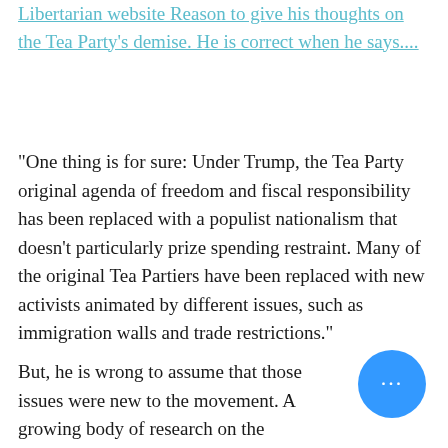Libertarian website Reason to give his thoughts on the Tea Party's demise. He is correct when he says....
"One thing is for sure: Under Trump, the Tea Party original agenda of freedom and fiscal responsibility has been replaced with a populist nationalism that doesn't particularly prize spending restraint. Many of the original Tea Partiers have been replaced with new activists animated by different issues, such as immigration walls and trade restrictions."
But, he is wrong to assume that those issues were new to the movement. A growing body of research on the motivations of Tea Partiers